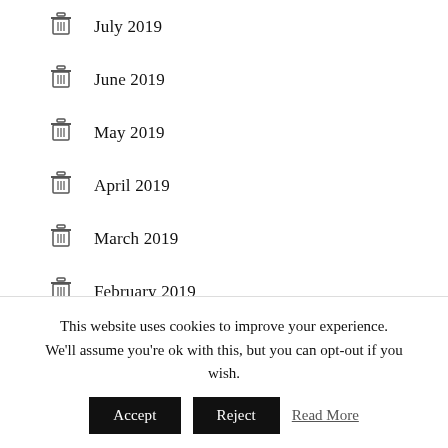July 2019
June 2019
May 2019
April 2019
March 2019
February 2019
January 2019
December 2018
This website uses cookies to improve your experience. We'll assume you're ok with this, but you can opt-out if you wish.
Accept   Reject   Read More